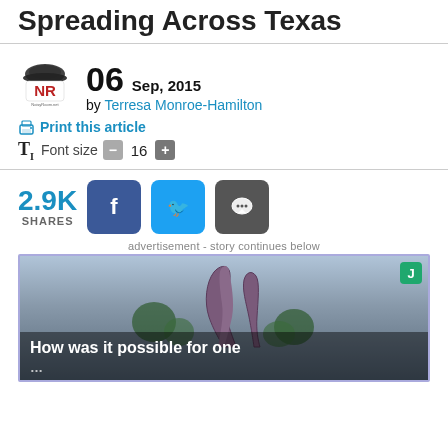Spreading Across Texas
06  Sep, 2015 by Terresa Monroe-Hamilton
Print this article
Tl  Font size  - 16 +
2.9K SHARES
[Figure (screenshot): Advertisement image showing a dinosaur sculpture with text overlay 'How was it possible for one']
advertisement - story continues below